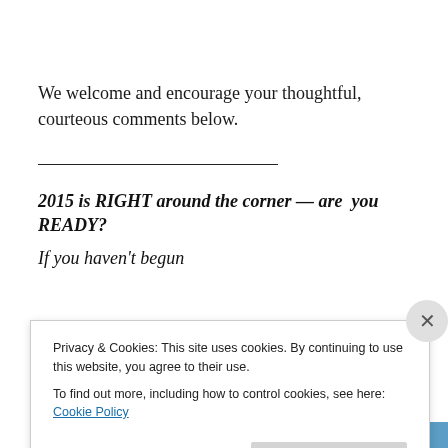We welcome and encourage your thoughtful, courteous comments below.
2015 is RIGHT around the corner — are you READY?
If you haven't begun
[Figure (illustration): Small illustration of a car or vehicle partially visible]
Privacy & Cookies: This site uses cookies. By continuing to use this website, you agree to their use.
To find out more, including how to control cookies, see here: Cookie Policy
Close and accept